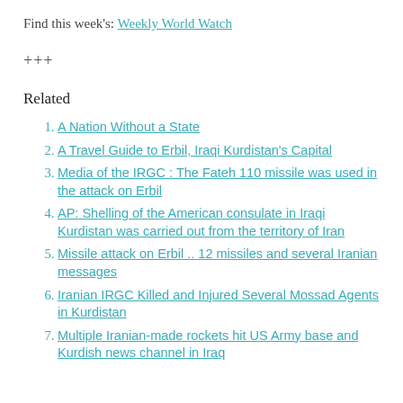Find this week's: Weekly World Watch
+++
Related
A Nation Without a State
A Travel Guide to Erbil, Iraqi Kurdistan's Capital
Media of the IRGC : The Fateh 110 missile was used in the attack on Erbil
AP: Shelling of the American consulate in Iraqi Kurdistan was carried out from the territory of Iran
Missile attack on Erbil .. 12 missiles and several Iranian messages
Iranian IRGC Killed and Injured Several Mossad Agents in Kurdistan
Multiple Iranian-made rockets hit US Army base and Kurdish news channel in Iraq